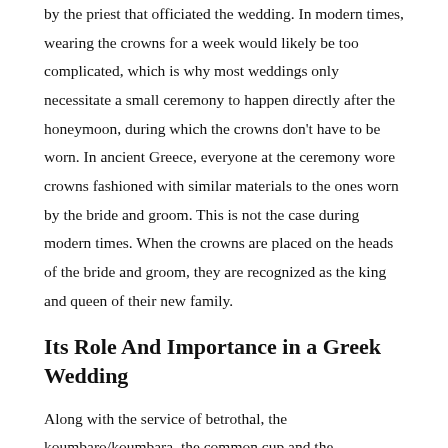by the priest that officiated the wedding. In modern times, wearing the crowns for a week would likely be too complicated, which is why most weddings only necessitate a small ceremony to happen directly after the honeymoon, during which the crowns don't have to be worn. In ancient Greece, everyone at the ceremony wore crowns fashioned with similar materials to the ones worn by the bride and groom. This is not the case during modern times. When the crowns are placed on the heads of the bride and groom, they are recognized as the king and queen of their new family.
Its Role And Importance in a Greek Wedding
Along with the service of betrothal, the koumbaro/koumbara, the common cup and the ceremonial walk, the crowning of the Stefana is one of the most important aspects of a Greek